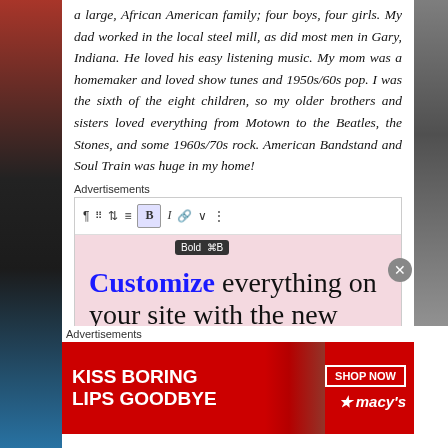a large, African American family; four boys, four girls. My dad worked in the local steel mill, as did most men in Gary, Indiana. He loved his easy listening music. My mom was a homemaker and loved show tunes and 1950s/60s pop. I was the sixth of the eight children, so my older brothers and sisters loved everything from Motown to the Beatles, the Stones, and some 1960s/70s rock. American Bandstand and Soul Train was huge in my home!
Advertisements
[Figure (screenshot): WordPress site editor advertisement showing a toolbar with bold button tooltip 'Bold ⌘B' and pink background with text: 'Customize everything on your site with the new Site Editor.']
Advertisements
[Figure (photo): Macy's advertisement banner on red background with text 'KISS BORING LIPS GOODBYE' and 'SHOP NOW' button with Macy's star logo. Shows woman's face.]